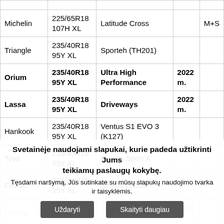| Brand | Size | Model | Year | Extra |
| --- | --- | --- | --- | --- |
|  |  |  |  |  |
| Michelin | 225/65R18 107H XL | Latitude Cross |  | M+S |
| Triangle | 235/40R18 95Y XL | Sporteh (TH201) |  |  |
| Orium | 235/40R18 95Y XL | Ultra High Performance | 2022 m. |  |
| Lassa | 235/40R18 95Y XL | Driveways | 2022 m. |  |
| Hankook | 235/40R18 95Y XL | Ventus S1 EVO 3 (K127) |  |  |
| Toyo | 235/40R18 95Y XL | Proxes Sport A |  |  |
| Falken | 235/40R18 95Y XL | Azenis FK510 |  |  |
| Dunlop | ... | ... | 2021 m. |  |
| Nokia | ... | ... |  |  |
Svetainėje naudojami slapukai, kurie padeda užtikrinti Jums teikiamų paslaugų kokybę.
Tęsdami naršymą, Jūs sutinkate su mūsų slapukų naudojimo tvarka ir taisyklėmis.